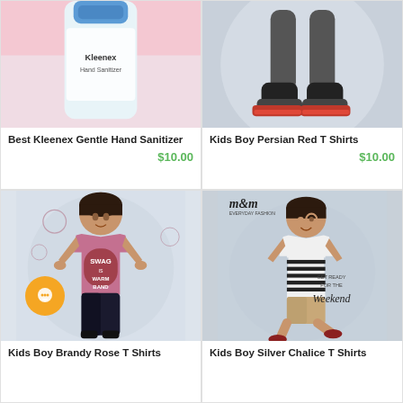[Figure (photo): Product photo of Kleenex Gentle Hand Sanitizer - partial top view showing blue cap]
Best Kleenex Gentle Hand Sanitizer
$10.00
[Figure (photo): Kids Boy Persian Red T Shirts - child wearing red shirt, partial leg/shoe view]
Kids Boy Persian Red T Shirts
$10.00
[Figure (photo): Kids Boy Brandy Rose T Shirts - child wearing pink t-shirt with SWAG Warm Band graphic, hands on hips, black pants]
Kids Boy Brandy Rose T Shirts
[Figure (photo): Kids Boy Silver Chalice T Shirts - child wearing white and black striped t-shirt, m&m everyday fashion branding, Get Ready for the Weekend text]
Kids Boy Silver Chalice T Shirts